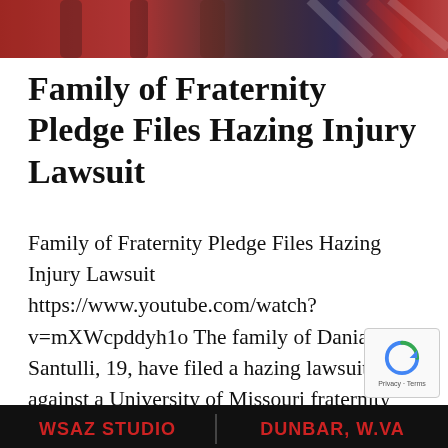[Figure (photo): Cropped image at top of page showing blurred/partial view of alcohol bottles or bar setting with red and white colors]
Family of Fraternity Pledge Files Hazing Injury Lawsuit
Family of Fraternity Pledge Files Hazing Injury Lawsuit https://www.youtube.com/watch?v=mXWcpddyh1o The family of Danial Santulli, 19, have filed a hazing lawsuit against a University of Missouri fraternity for requiring their son to drink a whole bottle of alcohol as part of the initiation process to join the frat. Tragically, Mr. Santulli...
[Figure (screenshot): Bottom TV news ticker bar showing WSAZ STUDIO on the left and DUNBAR, W.VA on the right in red bold text on black background]
[Figure (other): reCAPTCHA badge with circular arrow logo and Privacy - Terms text]